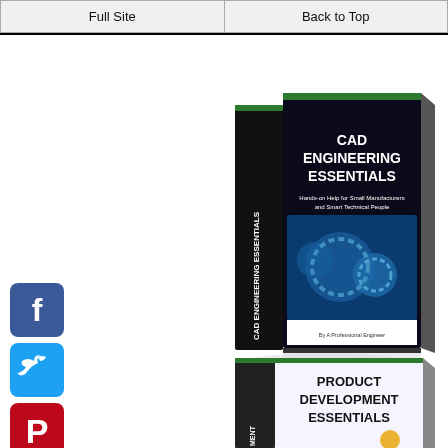Full Site | Back to Top
[Figure (illustration): 3D book cover: CAD Engineering Essentials - Hands-on Help for Small Manufacturers and Smart Technical People]
[Figure (illustration): 3D book cover: Product Development Essentials (partially visible at bottom)]
[Figure (illustration): Facebook share button (blue square with F icon)]
[Figure (illustration): Twitter share button (light blue square with bird icon)]
[Figure (illustration): Pinterest share button (red square with P icon)]
[Figure (illustration): Add/share button (blue square with plus icon)]